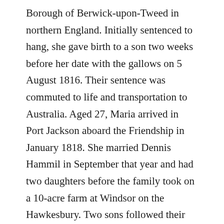Borough of Berwick-upon-Tweed in northern England. Initially sentenced to hang, she gave birth to a son two weeks before her date with the gallows on 5 August 1816. Their sentence was commuted to life and transportation to Australia. Aged 27, Maria arrived in Port Jackson aboard the Friendship in January 1818. She married Dennis Hammil in September that year and had two daughters before the family took on a 10-acre farm at Windsor on the Hawkesbury. Two sons followed their move to Richmond before they moved to East Maitland (then Wallis Plains), where Maria died aged 38 in 1828, leaving Dennis to raise four young children.